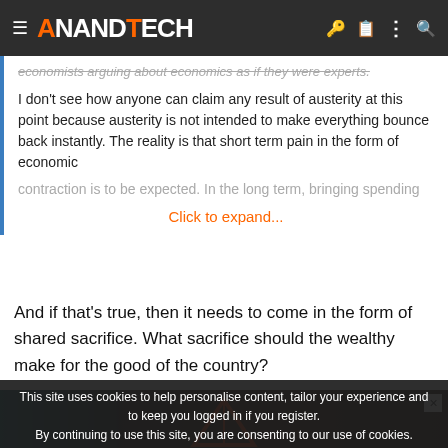AnandTech
economists arguing about economics as if they were experts.
I don't see how anyone can claim any result of austerity at this point because austerity is not intended to make everything bounce back instantly. The reality is that short term pain in the form of economic contraction is to be expected. In the long term, bringing spending
Click to expand...
And if that's true, then it needs to come in the form of shared sacrifice. What sacrifice should the wealthy make for the good of the country?
[Figure (screenshot): Advertisement banner for a website, showing a dark background with books and an orange A logo]
This site uses cookies to help personalise content, tailor your experience and to keep you logged in if you register.
By continuing to use this site, you are consenting to our use of cookies.